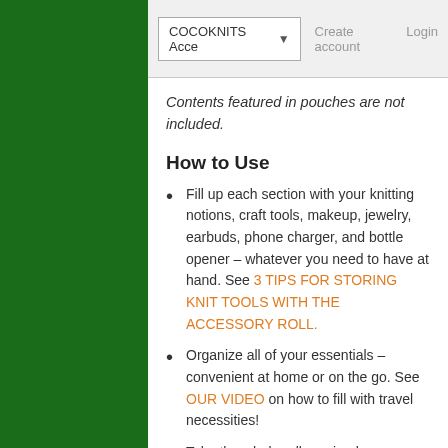COCOKNITS Acce ▾  Create account  Login
Contents featured in pouches are not included.
How to Use
Fill up each section with your knitting notions, craft tools, makeup, jewelry, earbuds, phone charger, and bottle opener – whatever you need to have at hand. See 3 TIPS FOR STORING KNIT TOOLS WITH THE ACCESSORY ROLL.
Organize all of your essentials – convenient at home or on the go. See OUR VIDEO on how to fill with travel necessities!
Take the whole roll, or simply unsnap one or two pouches to toss in your bag and be